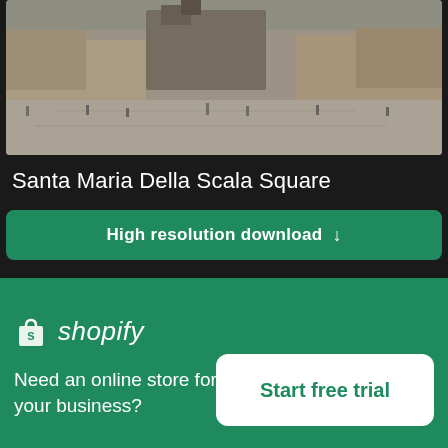[Figure (photo): Aerial/wide view of Santa Maria Della Scala Square in Italy, showing a large open piazza with people walking, historic buildings and a cathedral in the background]
Santa Maria Della Scala Square
High resolution download ↓
[Figure (photo): Looking up at a modern glass building against a blue sky, with diagonal architectural lines]
[Figure (logo): Shopify logo with shopping bag icon and italic shopify text]
Need an online store for your business?
Start free trial